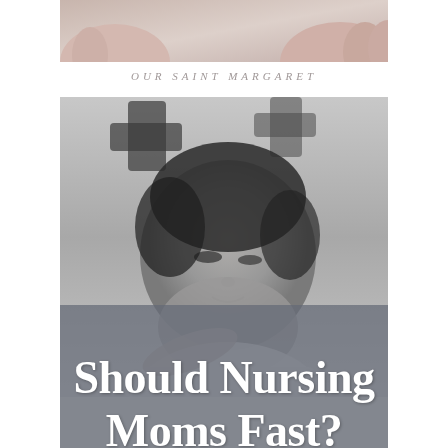[Figure (photo): Close-up photo of baby hands and adult hands, cropped top portion]
OUR SAINT MARGARET
[Figure (photo): Black and white photograph of a newborn baby lying down, with title text overlay]
Should Nursing Moms Fast?